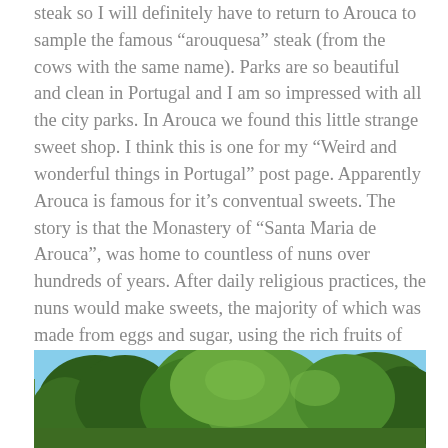steak so I will definitely have to return to Arouca to sample the famous “arouquesa” steak (from the cows with the same name). Parks are so beautiful and clean in Portugal and I am so impressed with all the city parks. In Arouca we found this little strange sweet shop. I think this is one for my “Weird and wonderful things in Portugal” post page. Apparently Arouca is famous for it’s conventual sweets. The story is that the Monastery of “Santa Maria de Arouca”, was home to countless of nuns over hundreds of years. After daily religious practices, the nuns would make sweets, the majority of which was made from eggs and sugar, using the rich fruits of the region such as chestnuts and almonds. The nuns used egg whites as a natural fabric softener leaving excess amounts of egg yolk spare. They reused the egg yolks adding sugar and the conventual sweets arose.
[Figure (photo): Outdoor park scene with green trees against a blue sky]